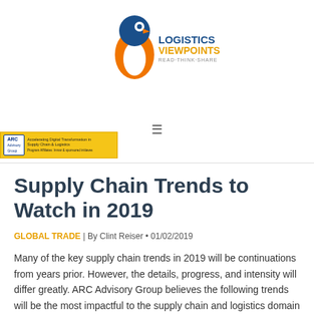[Figure (logo): Logistics Viewpoints logo — stylized penguin figure in orange and blue, with text 'LOGISTICS VIEWPOINTS READ·THINK·SHARE']
[Figure (logo): ARC Advisory Group banner — yellow background with ARC logo and small text about supply chain and logistics]
Supply Chain Trends to Watch in 2019
GLOBAL TRADE | By Clint Reiser • 01/02/2019
Many of the key supply chain trends in 2019 will be continuations from years prior. However, the details, progress, and intensity will differ greatly. ARC Advisory Group believes the following trends will be the most impactful to the supply chain and logistics domain through 2019.